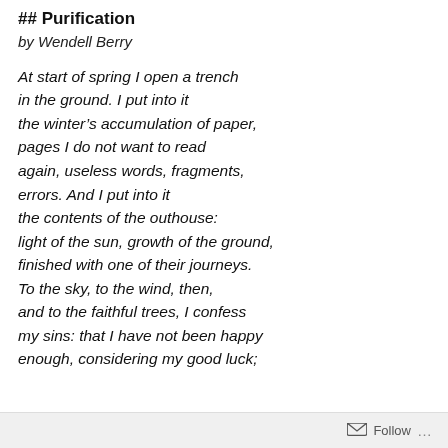## Purification
by Wendell Berry
At start of spring I open a trench
in the ground. I put into it
the winter's accumulation of paper,
pages I do not want to read
again, useless words, fragments,
errors. And I put into it
the contents of the outhouse:
light of the sun, growth of the ground,
finished with one of their journeys.
To the sky, to the wind, then,
and to the faithful trees, I confess
my sins: that I have not been happy
enough, considering my good luck;
Follow